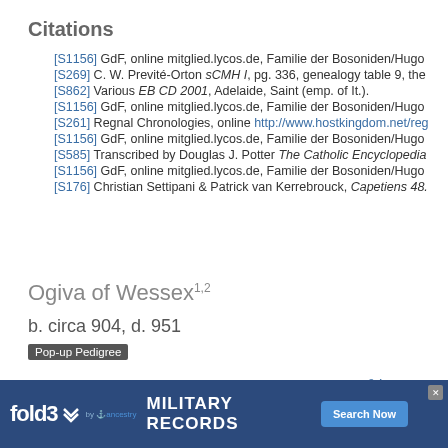Citations
[S1156] GdF, online mitglied.lycos.de, Familie der Bosoniden/Hugo...
[S269] C. W. Previté-Orton sCMH I, pg. 336, genealogy table 9, the...
[S862] Various EB CD 2001, Adelaide, Saint (emp. of It.).
[S1156] GdF, online mitglied.lycos.de, Familie der Bosoniden/Hugo...
[S261] Regnal Chronologies, online http://www.hostkingdom.net/reg...
[S1156] GdF, online mitglied.lycos.de, Familie der Bosoniden/Hugo...
[S585] Transcribed by Douglas J. Potter The Catholic Encyclopedia...
[S1156] GdF, online mitglied.lycos.de, Familie der Bosoniden/Hugo...
[S176] Christian Settipani & Patrick van Kerrebrouck, Capetiens 48...
Ogiva of Wessex1,2
b. circa 904, d. 951
Pop-up Pedigree
|  |  |
| --- | --- |
| Father | Edward "the Elder", King of the English3,4 |
| Mother | Queen of the English Ælfflæd of Wessex |
Also called Eadgifu 6 Also called Edgiva 7 Ogiva of Wess... daughter... and Que... Ogiva of... Frances... Adelaide...